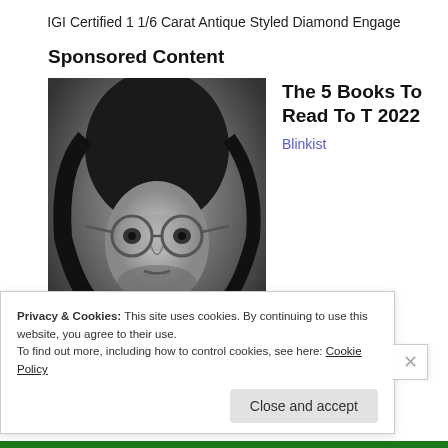IGI Certified 1 1/6 Carat Antique Styled Diamond Engage
Sponsored Content
[Figure (photo): Black and white photo of a young man with long hair and round glasses]
The 5 Books To Read To T 2022
Blinkist
Privacy & Cookies: This site uses cookies. By continuing to use this website, you agree to their use.
To find out more, including how to control cookies, see here: Cookie Policy
Close and accept